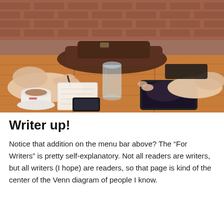[Figure (photo): Two people sitting at a wooden table. One person on the left is writing in a notebook with a coffee cup and saucer nearby and a smartphone on the table. The other person on the right has a tablet. A glass of water and a leather bag are visible on the table. Brick wall in the background.]
Writer up!
Notice that addition on the menu bar above? The “For Writers” is pretty self-explanatory. Not all readers are writers, but all writers (I hope) are readers, so that page is kind of the center of the Venn diagram of people I know.